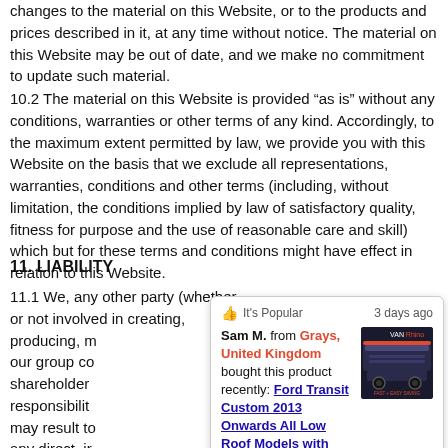changes to the material on this Website, or to the products and prices described in it, at any time without notice. The material on this Website may be out of date, and we make no commitment to update such material.
10.2 The material on this Website is provided “as is” without any conditions, warranties or other terms of any kind. Accordingly, to the maximum extent permitted by law, we provide you with this Website on the basis that we exclude all representations, warranties, conditions and other terms (including, without limitation, the conditions implied by law of satisfactory quality, fitness for purpose and the use of reasonable care and skill) which but for these terms and conditions might have effect in relation to this Website.
11. LIABILITY
11.1 We, any other party (whether or not involved in creating, producing, m our group co shareholder responsibilit may result to any direct, ir or any loss o
[Figure (screenshot): Popup notification showing a recent purchase. Header: thumbs-up icon, 'It’s Popular', '3 days ago'. Body: 'Sam M. from Grays, United Kingdom bought this product recently: Ford Transit Custom 2013 Onwards All Low Roof Models with twin rear door - Rhino Products 3 x Delta Bars + Rear Roller'. Image of van roof bars product on the right.]